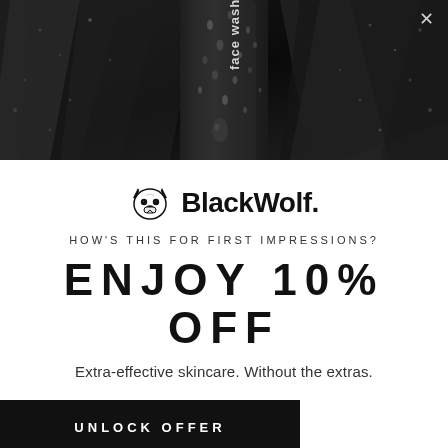[Figure (photo): Dark moody black and white photograph of skincare product bottles with water droplets. A face wash bottle is visible in center. A close X button appears in top right corner.]
[Figure (logo): BlackWolf brand logo with wolf head icon and bold text 'BlackWolf.' with registered trademark symbol]
HOW'S THIS FOR FIRST IMPRESSIONS?
ENJOY 10% OFF
Extra-effective skincare. Without the extras.
UNLOCK OFFER